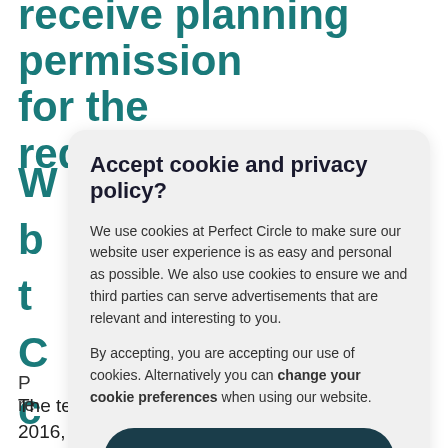receive planning permission for the redevelopment of
W
b
t
C
c
i
[Figure (screenshot): Cookie and privacy policy modal dialog with title 'Accept cookie and privacy policy?', body text about cookie usage at Perfect Circle, and an ACCEPT button.]
P
re
The team has been working on the project since 2016,